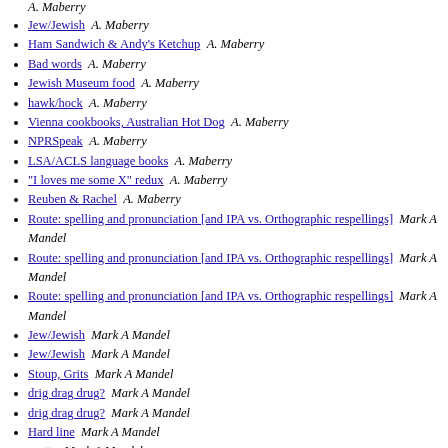A. Maberry
Jew/Jewish  A. Maberry
Ham Sandwich & Andy's Ketchup  A. Maberry
Bad words  A. Maberry
Jewish Museum food  A. Maberry
hawk/hock  A. Maberry
Vienna cookbooks, Australian Hot Dog  A. Maberry
NPRSpeak  A. Maberry
LSA/ACLS language books  A. Maberry
"I loves me some X" redux  A. Maberry
Reuben & Rachel  A. Maberry
Route: spelling and pronunciation [and IPA vs. Orthographic respellings]  Mark A Mandel
Route: spelling and pronunciation [and IPA vs. Orthographic respellings]  Mark A Mandel
Route: spelling and pronunciation [and IPA vs. Orthographic respellings]  Mark A Mandel
Jew/Jewish  Mark A Mandel
Jew/Jewish  Mark A Mandel
Stoup, Grits  Mark A Mandel
drig drag drug?  Mark A Mandel
drig drag drug?  Mark A Mandel
Hard line  Mark A Mandel
grotty  Mark A Mandel
grotty  Mark A Mandel